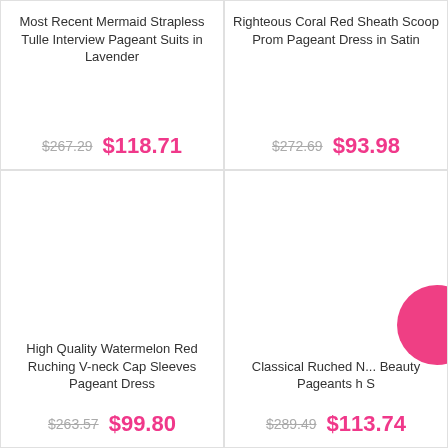Most Recent Mermaid Strapless Tulle Interview Pageant Suits in Lavender
$267.29  $118.71
Righteous Coral Red Sheath Scoop Prom Pageant Dress in Satin
$272.69  $93.98
[Figure (photo): White blank product image area for watermelon red ruching dress]
High Quality Watermelon Red Ruching V-neck Cap Sleeves Pageant Dress
$263.57  $99.80
[Figure (photo): White blank product image area for classical ruched dress, with pink circle badge overlay]
Classical Ruched ... Natural Beauty Pageants ... S
$289.49  $113.74